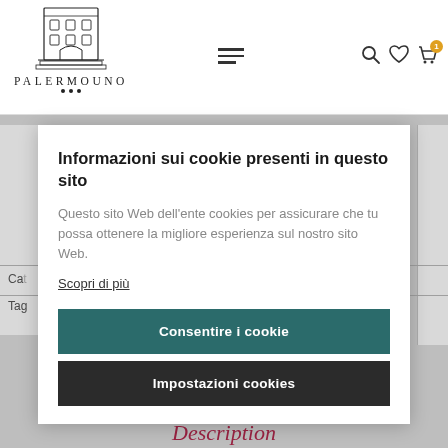[Figure (logo): PALERMOUNO logo — sketch of a multi-story building with arched entrance, text PALERMOUNO below with decorative dots]
Informazioni sui cookie presenti in questo sito
Questo sito Web dell'ente cookies per assicurare che tu possa ottenere la migliore esperienza sul nostro sito Web.
Scopri di più
Consentire i cookie
Impostazioni cookies
Description